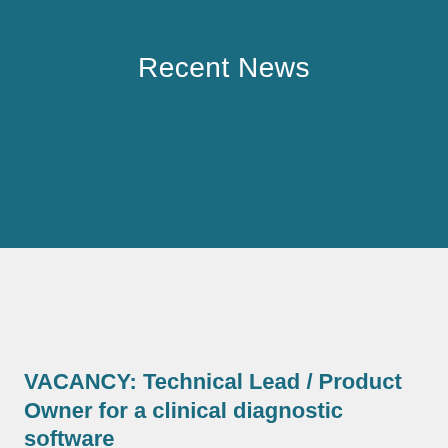Recent News
VACANCY: Technical Lead / Product Owner for a clinical diagnostic software